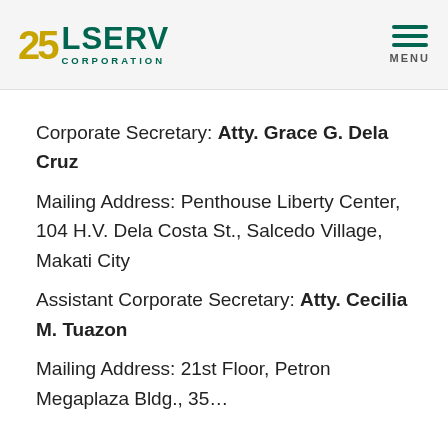[Figure (logo): LSERV Corporation logo with '25' anniversary mark in gold and teal]
Corporate Secretary: Atty. Grace G. Dela Cruz
Mailing Address: Penthouse Liberty Center, 104 H.V. Dela Costa St., Salcedo Village, Makati City
Assistant Corporate Secretary: Atty. Cecilia M. Tuazon
Mailing Address: 21st Floor, Petron Megaplaza Bldg., 35...